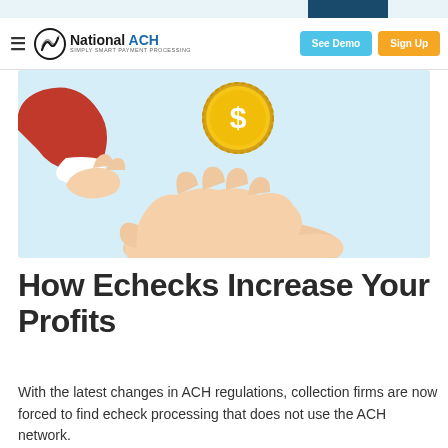[Figure (screenshot): National ACH website header with hamburger menu, National ACH logo (circular icon with swoosh lines), 'See Demo' blue button, and 'Sign Up' orange button]
[Figure (illustration): Illustration of a hand in a red business suit sleeve holding a gold dollar coin above an open palm on a light blue background]
How Echecks Increase Your Profits
With the latest changes in ACH regulations, collection firms are now forced to find echeck processing that does not use the ACH network.